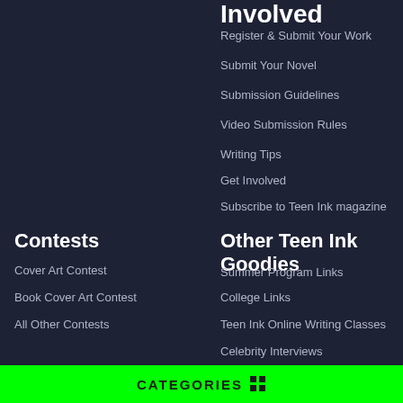Involved
Register & Submit Your Work
Submit Your Novel
Submission Guidelines
Video Submission Rules
Writing Tips
Get Involved
Subscribe to Teen Ink magazine
Contests
Cover Art Contest
Book Cover Art Contest
All Other Contests
Other Teen Ink Goodies
Summer Program Links
College Links
Teen Ink Online Writing Classes
Celebrity Interviews
Video Series
Badge Legend
CATEGORIES